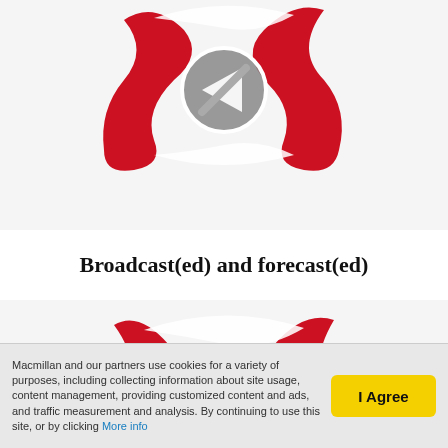[Figure (screenshot): Video thumbnail showing a red wave/flag logo with a circular play button (left-pointing arrow) overlaid, on a light background. Top portion of a media player.]
Broadcast(ed) and forecast(ed)
[Figure (screenshot): Video thumbnail showing a red wave/flag logo with a circular play button (right-pointing arrow) overlaid, on a light background.]
Macmillan and our partners use cookies for a variety of purposes, including collecting information about site usage, content management, providing customized content and ads, and traffic measurement and analysis. By continuing to use this site, or by clicking More info